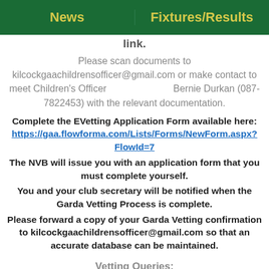News | Fixtures/Results
link.
Please scan documents to kilcockgaachildrensofficer@gmail.com or make contact to meet Children's Officer Bernie Durkan (087-7822453) with the relevant documentation.
Complete the EVetting Application Form available here: https://gaa.flowforma.com/Lists/Forms/NewForm.aspx?FlowId=7
The NVB will issue you with an application form that you must complete yourself.
You and your club secretary will be notified when the Garda Vetting Process is complete.
Please forward a copy of your Garda Vetting confirmation to kilcockgaachildrensofficer@gmail.com so that an accurate database can be maintained.
Vetting Queries:
If you are unsure if you have been Garda Vetted in the past